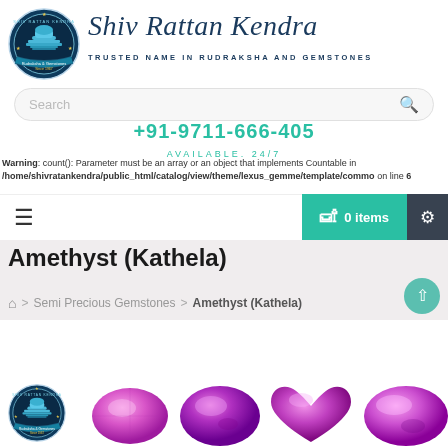[Figure (logo): Shiv Rattan Kendra circular logo with Shiva linga, dark blue background, 'Rudraksha & Gemstones Since 1967' text around circle]
Shiv Rattan Kendra
TRUSTED NAME IN RUDRAKSHA AND GEMSTONES
Search
+91-9711-666-405
AVAILABLE. 24/7
Warning: count(): Parameter must be an array or an object that implements Countable in /home/shivratankendra/public_html/catalog/view/theme/lexus_gemme/template/commo on line 6
☰
🛒 0 items
Amethyst (Kathela)
🏠 > Semi Precious Gemstones > Amethyst (Kathela)
[Figure (photo): Amethyst (Kathela) gemstones - purple/violet cut stones shown at bottom of page, along with a small Shiv Rattan Kendra logo]